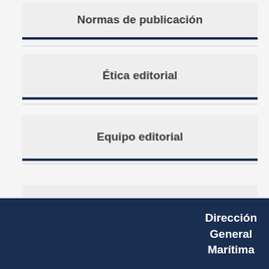Normas de publicación
Ética editorial
Equipo editorial
Servicios de Indexación y Resumen
Dirección General Marítima